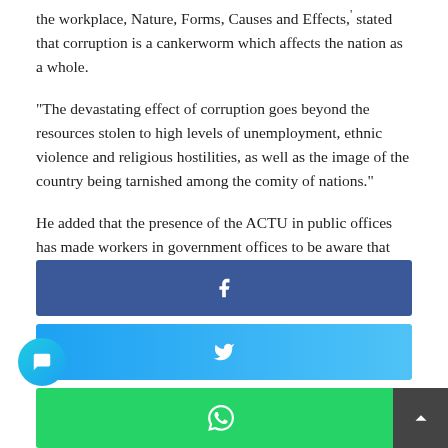the workplace, Nature, Forms, Causes and Effects,' stated that corruption is a cankerworm which affects the nation as a whole.
“The devastating effect of corruption goes beyond the resources stolen to high levels of unemployment, ethnic violence and religious hostilities, as well as the image of the country being tarnished among the comity of nations.”
He added that the presence of the ACTU in public offices has made workers in government offices to be aware that corruption can be easily uncovered thereby making them adhere to rules and regulations in their places of work.
[Figure (other): Social media share buttons for Facebook, Twitter, and WhatsApp, plus a chat bubble icon and a scroll-to-top arrow button.]